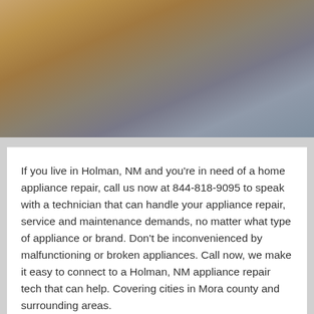[Figure (photo): Photo of a kitchen with wooden cabinets and appliances, a repair technician partially visible on the right side]
If you live in Holman, NM and you're in need of a home appliance repair, call us now at 844-818-9095 to speak with a technician that can handle your appliance repair, service and maintenance demands, no matter what type of appliance or brand. Don't be inconvenienced by malfunctioning or broken appliances. Call now, we make it easy to connect to a Holman, NM appliance repair tech that can help. Covering cities in Mora county and surrounding areas.
Dishwasher Repair
We rely on kitchen dishwashers to thoroughly clean our
[Figure (photo): Photo of a repair technician working on a dishwasher or kitchen appliance, with a kettle and tools visible on a countertop]